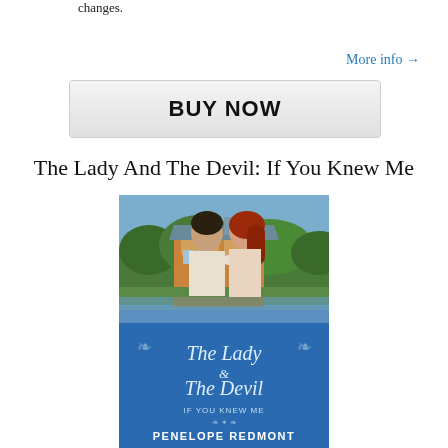changes.
More info →
[Figure (other): BUY NOW button — a wide rectangular button with light grey gradient background and dark bold text reading BUY NOW]
The Lady And The Devil: If You Knew Me
[Figure (photo): Book cover for 'The Lady & The Devil: If You Knew Me' by Penelope Redmont. Top half shows a romantic couple nearly kissing in front of a European manor house reflected in water. Bottom half is bright blue with ornate script title text 'The Lady & The Devil' and subtitle 'If You Knew Me', and author name 'PENELOPE REDMONT' and series text 'The Families of Ghostholm Hall, Book VI'.]